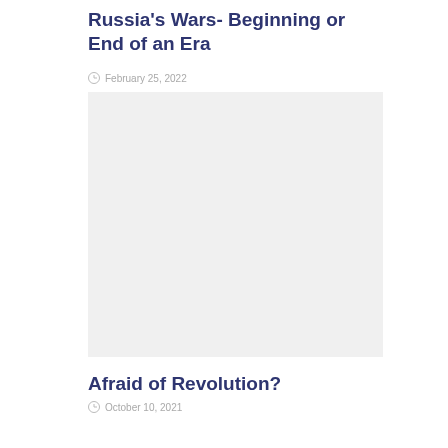Russia's Wars- Beginning or End of an Era
February 25, 2022
[Figure (photo): Image placeholder for Russia's Wars article]
Afraid of Revolution?
October 10, 2021